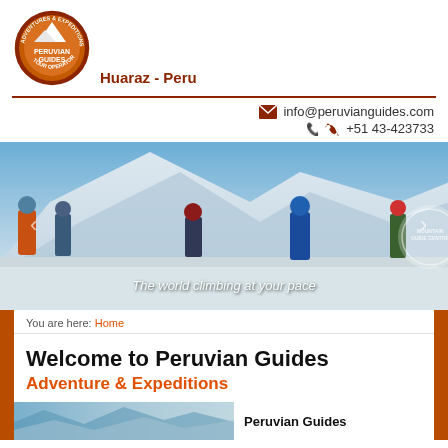[Figure (logo): Circular logo: Peruvian Guides Adventures & Expeditions Tour Operator, brown/orange colors with mountain graphic]
Huaraz - Peru
info@peruvianguides.com
+51 43-423733
[Figure (photo): Mountain climbers on a snow-covered peak with rugged mountain backdrop. Caption: The world climbing at your pace]
You are here: Home
Welcome to Peruvian Guides
Adventure & Expeditions
Peruvian Guides